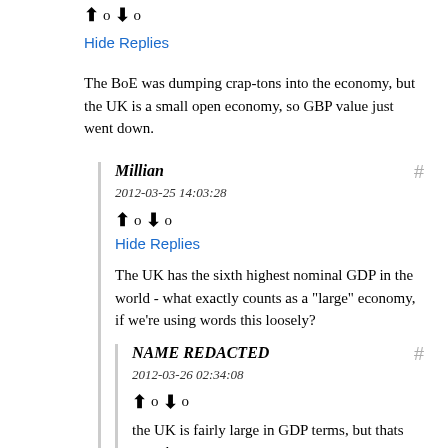↑ 0 ↓ 0
Hide Replies
The BoE was dumping crap-tons into the economy, but the UK is a small open economy, so GBP value just went down.
Millian
2012-03-25 14:03:28
↑ 0 ↓ 0
Hide Replies
The UK has the sixth highest nominal GDP in the world - what exactly counts as a "large" economy, if we're using words this loosely?
NAME REDACTED
2012-03-26 02:34:08
↑ 0 ↓ 0
the UK is fairly large in GDP terms, but thats not what